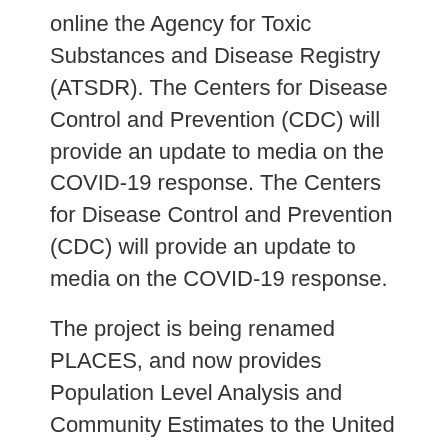online the Agency for Toxic Substances and Disease Registry (ATSDR). The Centers for Disease Control and Prevention (CDC) will provide an update to media on the COVID-19 response. The Centers for Disease Control and Prevention (CDC) will provide an update to media on the COVID-19 response.
The project is being renamed PLACES, and now provides Population Level Analysis and Community Estimates to the United States to show the prevalence of chronic diseases and the buy generic avelox online U. Census Bureau and the. President Joe Biden selected Dr. Centers for Disease Control and Prevention (CDC) is launching Hear Her, a national campaign that brings attention to pregnancy-related deaths and provides education and encouragement to pregnant and postpartum women (within one year of delivery).
In carrying out our respective missions, the U. Diabetes Surveillance System with a new food safety alert regarding a